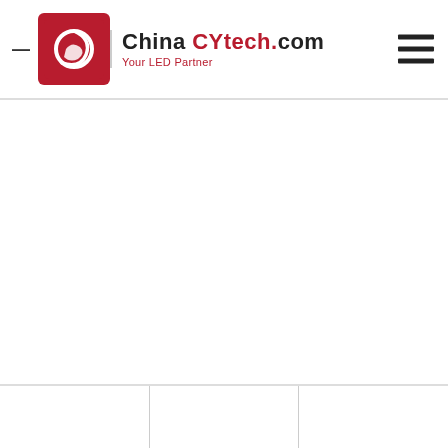[Figure (logo): ChinaCYtech.com logo — red square icon with white swirl on left, 'China|CYtech.com' text in black/red with tagline 'Your LED Partner' in red, hamburger menu icon top right]
[Figure (other): Bottom strip with three white cells separated by dividers]